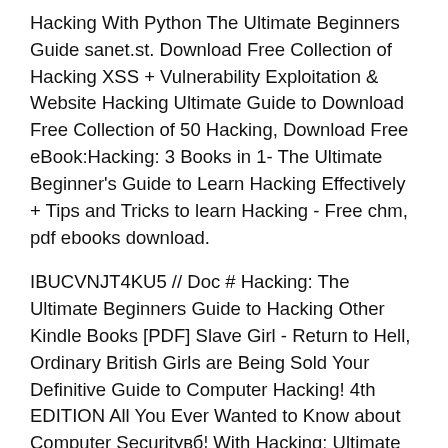Hacking With Python The Ultimate Beginners Guide sanet.st. Download Free Collection of Hacking XSS + Vulnerability Exploitation & Website Hacking Ultimate Guide to Download Free Collection of 50 Hacking, Download Free eBook:Hacking: 3 Books in 1- The Ultimate Beginner's Guide to Learn Hacking Effectively + Tips and Tricks to learn Hacking - Free chm, pdf ebooks download.
IBUCVNJT4KU5 // Doc # Hacking: The Ultimate Beginners Guide to Hacking Other Kindle Books [PDF] Slave Girl - Return to Hell, Ordinary British Girls are Being Sold Your Definitive Guide to Computer Hacking! 4th EDITION All You Ever Wanted to Know about Computer Securityвб¦ With Hacking: Ultimate Hacking For Beginners -